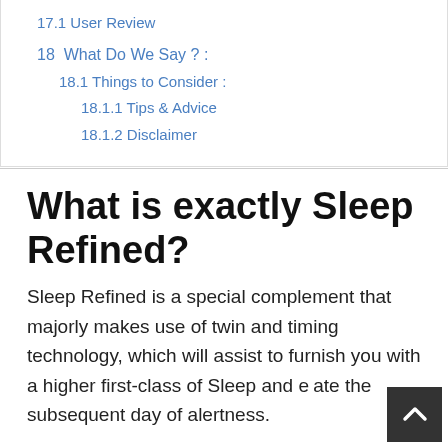17.1 User Review
18  What Do We Say ? :
18.1 Things to Consider :
18.1.1 Tips & Advice
18.1.2 Disclaimer
What is exactly Sleep Refined?
Sleep Refined is a special complement that majorly makes use of twin and timing technology, which will assist to furnish you with a higher first-class of Sleep and elevate the subsequent day of alertness.